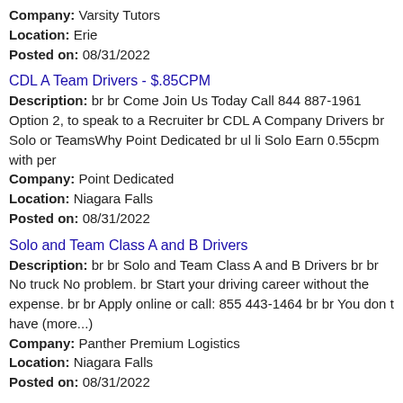Company: Varsity Tutors
Location: Erie
Posted on: 08/31/2022
CDL A Team Drivers - $.85CPM
Description: br br Come Join Us Today Call 844 887-1961 Option 2, to speak to a Recruiter br CDL A Company Drivers br Solo or TeamsWhy Point Dedicated br ul li Solo Earn 0.55cpm with per
Company: Point Dedicated
Location: Niagara Falls
Posted on: 08/31/2022
Solo and Team Class A and B Drivers
Description: br br Solo and Team Class A and B Drivers br br No truck No problem. br Start your driving career without the expense. br br Apply online or call: 855 443-1464 br br You don t have (more...)
Company: Panther Premium Logistics
Location: Niagara Falls
Posted on: 08/31/2022
Class A CDL Team Van Truckload Truck Driver, Bonus and Increased Pay
Description: br br Class A CDL Team Van Truckload Truck Driver, Bonus and Increased Pay br br Our Drivers earn top pay in the